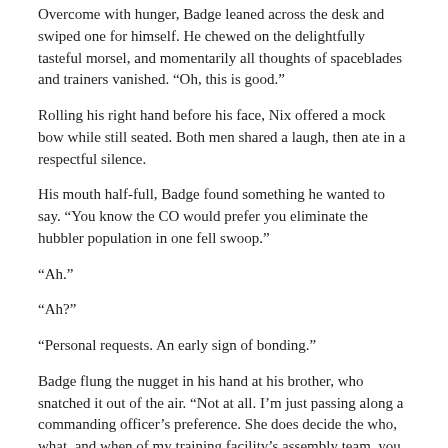Overcome with hunger, Badge leaned across the desk and swiped one for himself. He chewed on the delightfully tasteful morsel, and momentarily all thoughts of spaceblades and trainers vanished. “Oh, this is good.”
Rolling his right hand before his face, Nix offered a mock bow while still seated. Both men shared a laugh, then ate in a respectful silence.
His mouth half-full, Badge found something he wanted to say. “You know the CO would prefer you eliminate the hubbler population in one fell swoop.”
“Ah.”
“Ah?”
“Personal requests. An early sign of bonding.”
Badge flung the nugget in his hand at his brother, who snatched it out of the air. “Not at all. I’m just passing along a commanding officer’s preference. She does decide the who, what, and when of my training facility’s assembly team, you know.”
Nix tipped his head toward the now half-eaten plate of hubbler. “If she’d have been here, you wouldn’t have had to explain why.”